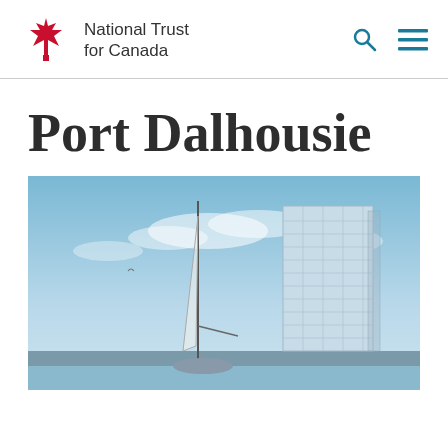National Trust for Canada
Port Dalhousie
[Figure (photo): Photograph showing a tall modern glass skyscraper tower under construction next to a sailboat mast, with a blue sky and clouds in the background. The building is a rectangular glass-clad high-rise.]